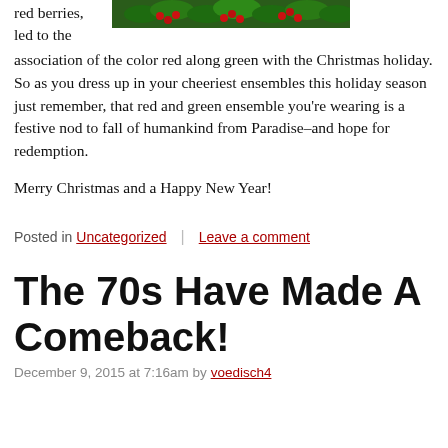[Figure (photo): Close-up photo of holly branches with red berries and green leaves]
red berries, led to the association of the color red along green with the Christmas holiday. So as you dress up in your cheeriest ensembles this holiday season just remember, that red and green ensemble you're wearing is a festive nod to fall of humankind from Paradise–and hope for redemption.
Merry Christmas and a Happy New Year!
Posted in Uncategorized | Leave a comment
The 70s Have Made A Comeback!
December 9, 2015 at 7:16am by voedisch4